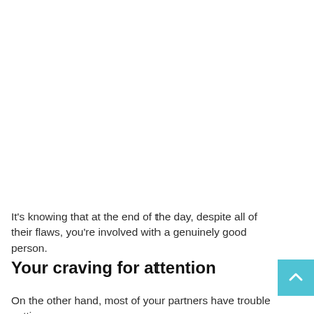It's knowing that at the end of the day, despite all of their flaws, you're involved with a genuinely good person.
Your craving for attention
On the other hand, most of your partners have trouble putting